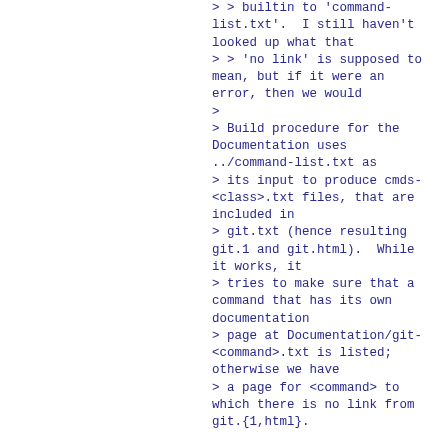> > builtin to 'command-list.txt'.  I still haven't looked up what that
> > 'no link' is supposed to mean, but if it were an error, then we would
>
> Build procedure for the Documentation uses ../command-list.txt as
> its input to produce cmds-<class>.txt files, that are included in
> git.txt (hence resulting git.1 and git.html).  While it works, it
> tries to make sure that a command that has its own documentation
> page at Documentation/git-<command>.txt is listed; otherwise we have
> a page for <command> to which there is no link from git.{1,html}.

Oh, then it doesn't quite do what I thought it does.

> I think "make check-